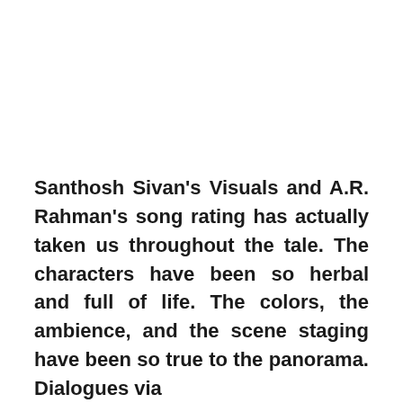Santhosh Sivan's Visuals and A.R. Rahman's song rating has actually taken us throughout the tale. The characters have been so herbal and full of life. The colors, the ambience, and the scene staging have been so true to the panorama. Dialogues via